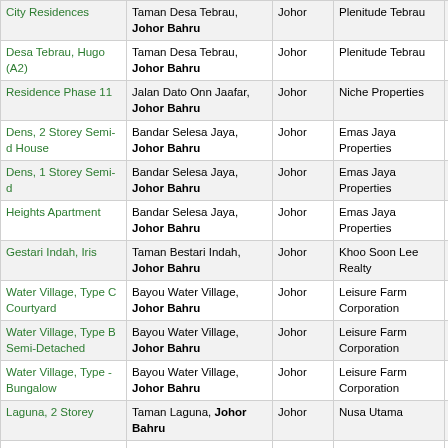| Name | Location | State | Developer | Price |
| --- | --- | --- | --- | --- |
| City Residences | Taman Desa Tebrau, Johor Bahru | Johor | Plenitude Tebrau | 172K |
| Desa Tebrau, Hugo (A2) | Taman Desa Tebrau, Johor Bahru | Johor | Plenitude Tebrau | 306K |
| Residence Phase 11 | Jalan Dato Onn Jaafar, Johor Bahru | Johor | Niche Properties | 208-292K |
| Dens, 2 Storey Semi-d House | Bandar Selesa Jaya, Johor Bahru | Johor | Emas Jaya Properties | 257-414K |
| Dens, 1 Storey Semi-d | Bandar Selesa Jaya, Johor Bahru | Johor | Emas Jaya Properties | 137-176K |
| Heights Apartment | Bandar Selesa Jaya, Johor Bahru | Johor | Emas Jaya Properties | 107-132K |
| Gestari Indah, Iris | Taman Bestari Indah, Johor Bahru | Johor | Khoo Soon Lee Realty | 221-411K |
| Water Village, Type C Courtyard | Bayou Water Village, Johor Bahru | Johor | Leisure Farm Corporation | 595-661K |
| Water Village, Type B Semi-Detached | Bayou Water Village, Johor Bahru | Johor | Leisure Farm Corporation | 1.01-1.02M |
| Water Village, Type - Bungalow | Bayou Water Village, Johor Bahru | Johor | Leisure Farm Corporation | 1.33M |
| Laguna, 2 Storey | Taman Laguna, Johor Bahru | Johor | Nusa Utama | 327-400K |
| Nusa Bestari, Type J Terrace | Taman Nusa Bestari, Johor Bahru | Johor | Khoo Soon Lee Realty | 299K |
| Tasek Luxurious Serviced Resdence | Johor Bahru | Johor | Suria Bistari Development | 233-308K |
| Perdana, 2 Storey Link Homes | Sri Pulai Perdana, Johor Bahru | Johor | Mah Sing Properties | 269-318K |
| Tropika, Caryota Coop | Setia Tropika, Johor Bahru | Johor | Setia Indah | 374-574K |